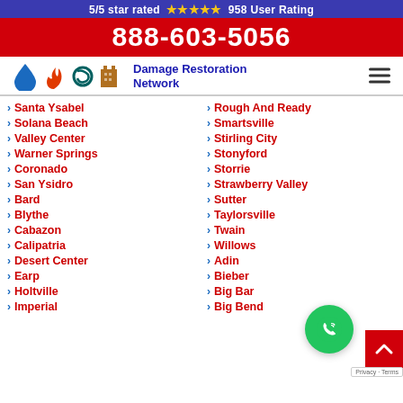5/5 star rated ★★★★★ 958 User Rating
888-603-5056
[Figure (logo): Damage Restoration Network logo with water drop, fire, hurricane, and building icons]
Santa Ysabel
Rough And Ready
Solana Beach
Smartsville
Valley Center
Stirling City
Warner Springs
Stonyford
Coronado
Storrie
San Ysidro
Strawberry Valley
Bard
Sutter
Blythe
Taylorsville
Cabazon
Twain
Calipatria
Willows
Desert Center
Adin
Earp
Bieber
Holtville
Big Bar
Imperial
Big Bend